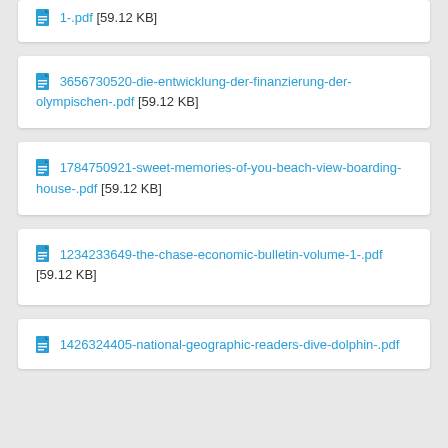1-.pdf [59.12 KB]
3656730520-die-entwicklung-der-finanzierung-der-olympischen-.pdf [59.12 KB]
1784750921-sweet-memories-of-you-beach-view-boarding-house-.pdf [59.12 KB]
1234233649-the-chase-economic-bulletin-volume-1-.pdf [59.12 KB]
1426324405-national-geographic-readers-dive-dolphin-.pdf